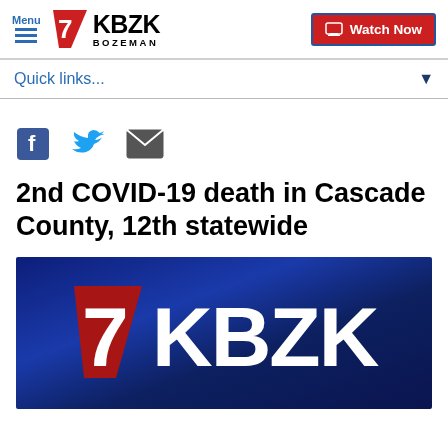Menu | 7 KBZK BOZEMAN | Watch Now
Quick links...
[Figure (other): Social share icons: Facebook, Twitter, Email]
2nd COVID-19 death in Cascade County, 12th statewide
[Figure (logo): 7 KBZK logo on dark blue background]